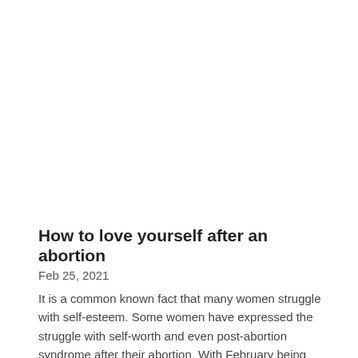How to love yourself after an abortion
Feb 25, 2021
It is a common known fact that many women struggle with self-esteem. Some women have expressed the struggle with self-worth and even post-abortion syndrome after their abortion. With February being the month of love, we want to help you take to heart